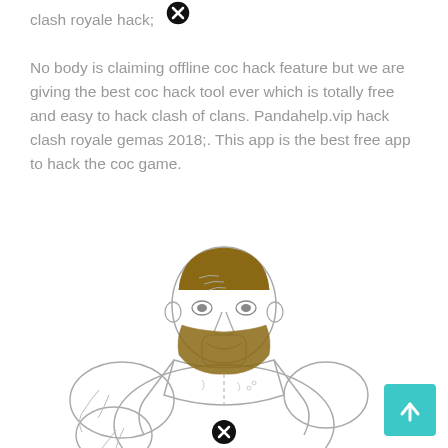clash royale hack;

No body is claiming offline coc hack feature but we are giving the best coc hack tool ever which is totally free and easy to hack clash of clans. Pandahelp.vip hack clash royale gemas 2018;. This app is the best free app to hack the coc game.
[Figure (illustration): Line drawing illustration of a muscular bearded man wearing a tank top, with a brown beard and hair. Two circular close/X button icons are overlaid on the image.]